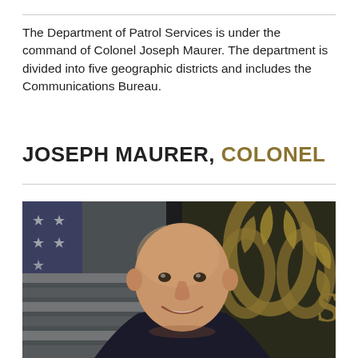The Department of Patrol Services is under the command of Colonel Joseph Maurer. The department is divided into five geographic districts and includes the Communications Bureau.
JOSEPH MAURER, COLONEL
[Figure (photo): Official portrait photo of Colonel Joseph Maurer, a bald man in uniform smiling, with an American flag and a gold organizational seal/emblem in the background.]